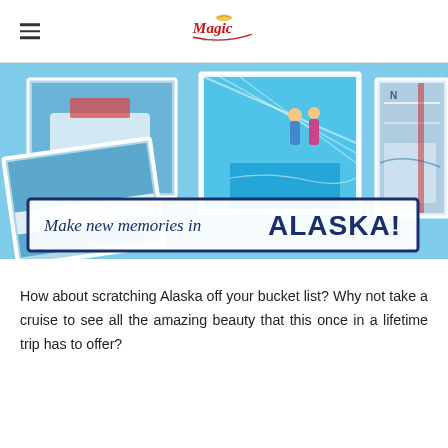Magic Family Travel — navigation header with logo
[Figure (photo): Banner image showing Alaska cruise photos collage with three travel photos (cruise ship, scenic pool/water feature, ship deck) and a text overlay reading 'Make new memories in ALASKA!']
How about scratching Alaska off your bucket list? Why not take a cruise to see all the amazing beauty that this once in a lifetime trip has to offer?